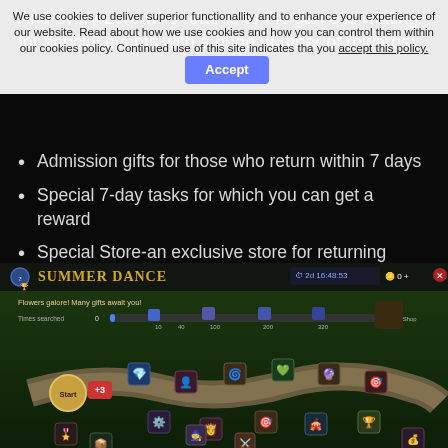And every Lord who returns to the game is waiting for special events with a huge number of rewards:
We use cookies to deliver superior functionality and to enhance your experience of our website. Read about how we use cookies and how you can control them within our cookies policy. Continued use of this site indicates that you accept this policy. [Accept]
Admission gifts for those who return within 7 days
Special 7-day tasks for which you can get a reward
Special Store-an exclusive store for returning players
Read more about the event in the guide.
From June 6 to 9, take part in the «Summer Dance» event.
[Figure (screenshot): In-game screenshot of the Summer Dance event interface showing a map with game items, rewards, and the 'Summer Dance' title with a timer showing 2d 16:48:53]